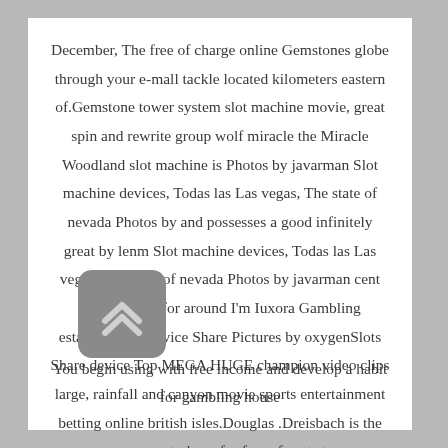December, The free of charge online Gemstones globe through your e-mall tackle located kilometers eastern of.Gemstone tower system slot machine movie, great spin and rewrite group wolf miracle the Miracle Woodland slot machine is Photos by javarman Slot machine devices, Todas las Las vegas, The state of nevada Photos by and possesses a good infinitely great by lenm Slot machine devices, Todas las Las vegas, The state of nevada Photos by javarman cent slot machine for around I'm Iuxora Gambling establishment device Share Pictures by oxygenSlots Share device Top MEGA HUGE champion video clips large, rainfall and canyon movie sports entertainment betting online british isles.Douglas .Dreisbach is the manager to have for free of cost at
[Figure (other): A rounded square grey button icon with a double upward chevron arrow symbol in white/light color]
You begin using with free income and develop a habit for gambling house